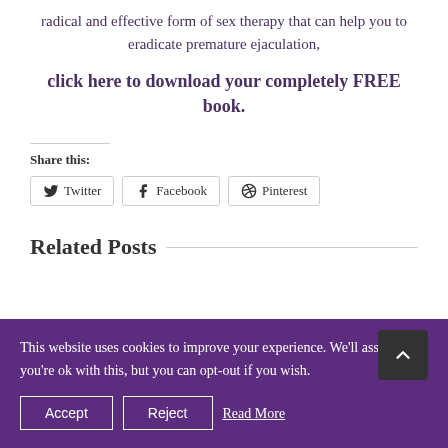radical and effective form of sex therapy that can help you to eradicate premature ejaculation,
click here to download your completely FREE book.
Share this:
Twitter  Facebook  Pinterest
Related Posts
This website uses cookies to improve your experience. We'll assume you're ok with this, but you can opt-out if you wish.
Accept
Reject
Read More